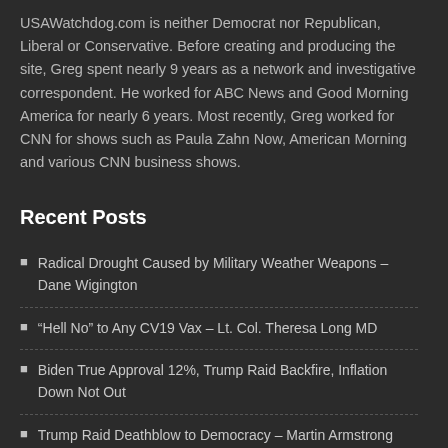USAWatchdog.com is neither Democrat nor Republican, Liberal or Conservative. Before creating and producing the site, Greg spent nearly 9 years as a network and investigative correspondent. He worked for ABC News and Good Morning America for nearly 6 years. Most recently, Greg worked for CNN for shows such as Paula Zahn Now, American Morning and various CNN business shows.
Recent Posts
Radical Drought Caused by Military Weather Weapons – Dane Wigington
“Hell No” to Any CV19 Vax – Lt. Col. Theresa Long MD
Biden True Approval 12%, Trump Raid Backfire, Inflation Down Not Out
Trump Raid Deathblow to Democracy – Martin Armstrong